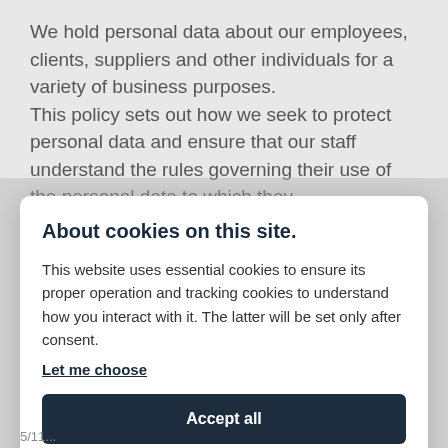We hold personal data about our employees, clients, suppliers and other individuals for a variety of business purposes. This policy sets out how we seek to protect personal data and ensure that our staff understand the rules governing their use of the personal data to which they
About cookies on this site.
This website uses essential cookies to ensure its proper operation and tracking cookies to understand how you interact with it. The latter will be set only after consent.
Let me choose
Accept all
Reject all